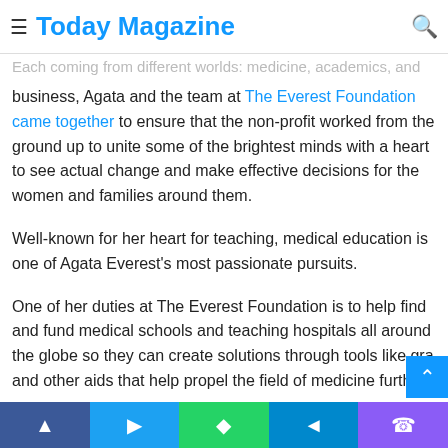≡  Today Magazine  🔍
it shift the atmosphere of medicine as the world knew it.
Each coming from different worlds: medicine, academics, and business, Agata and the team at The Everest Foundation came together to ensure that the non-profit worked from the ground up to unite some of the brightest minds with a heart to see actual change and make effective decisions for the women and families around them.
Well-known for her heart for teaching, medical education is one of Agata Everest's most passionate pursuits.
One of her duties at The Everest Foundation is to help find and fund medical schools and teaching hospitals all around the globe so they can create solutions through tools like gra and other aids that help propel the field of medicine further.
Facebook Twitter WhatsApp Telegram Phone